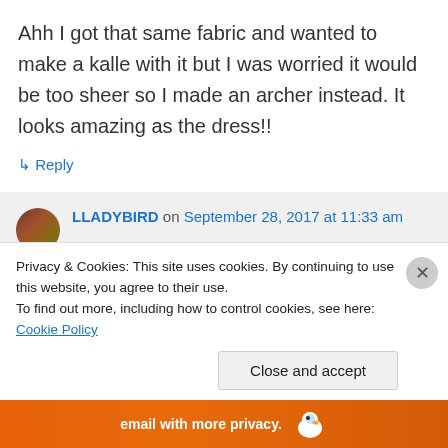Ahh I got that same fabric and wanted to make a kalle with it but I was worried it would be too sheer so I made an archer instead. It looks amazing as the dress!!
↳ Reply
LLADYBIRD on September 28, 2017 at 11:33 am
Thank you!! It is definitely sheer, but less
Privacy & Cookies: This site uses cookies. By continuing to use this website, you agree to their use.
To find out more, including how to control cookies, see here: Cookie Policy
Close and accept
email with more privacy.